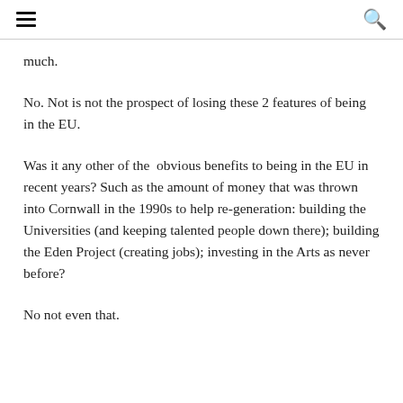≡  🔍
much.
No. Not is not the prospect of losing these 2 features of being in the EU.
Was it any other of the  obvious benefits to being in the EU in recent years? Such as the amount of money that was thrown into Cornwall in the 1990s to help re-generation: building the Universities (and keeping talented people down there); building the Eden Project (creating jobs); investing in the Arts as never before?
No not even that.